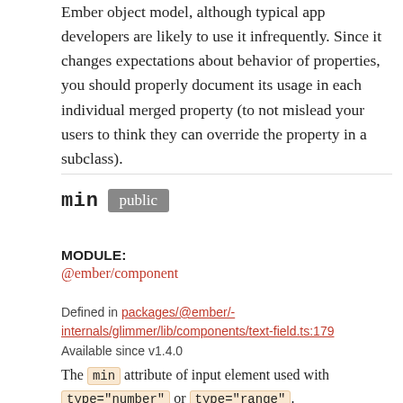Ember object model, although typical app developers are likely to use it infrequently. Since it changes expectations about behavior of properties, you should properly document its usage in each individual merged property (to not mislead your users to think they can override the property in a subclass).
min public
MODULE:
@ember/component
Defined in packages/@ember/-internals/glimmer/lib/components/text-field.ts:179
Available since v1.4.0
The min attribute of input element used with type="number" or type="range".